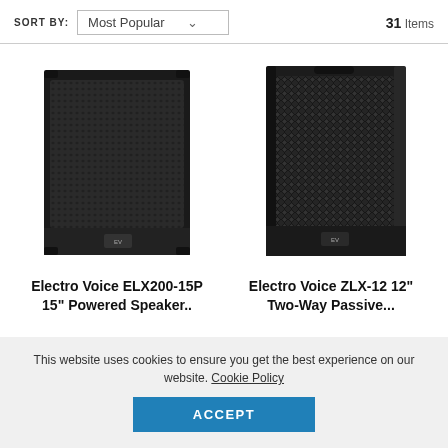SORT BY: Most Popular   31 Items
[Figure (photo): Electro Voice ELX200-15P 15-inch powered speaker, black rectangular speaker box with metal grille, front-facing view]
Electro Voice ELX200-15P 15" Powered Speaker..
[Figure (photo): Electro Voice ZLX-12 12-inch two-way passive speaker, black rectangular speaker box with diamond-pattern metal grille, front-facing view]
Electro Voice ZLX-12 12" Two-Way Passive...
This website uses cookies to ensure you get the best experience on our website. Cookie Policy
ACCEPT